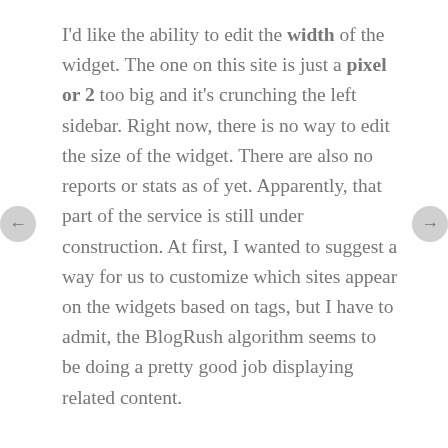I'd like the ability to edit the width of the widget. The one on this site is just a pixel or 2 too big and it's crunching the left sidebar. Right now, there is no way to edit the size of the widget. There are also no reports or stats as of yet. Apparently, that part of the service is still under construction. At first, I wanted to suggest a way for us to customize which sites appear on the widgets based on tags, but I have to admit, the BlogRush algorithm seems to be doing a pretty good job displaying related content.
At times, there are blog headlines that appear in my widget which seem screwed up. The headlines appear as all question marks as if I don't have the language pack the headline was written in. It could also be the case that the blog entry was spam.